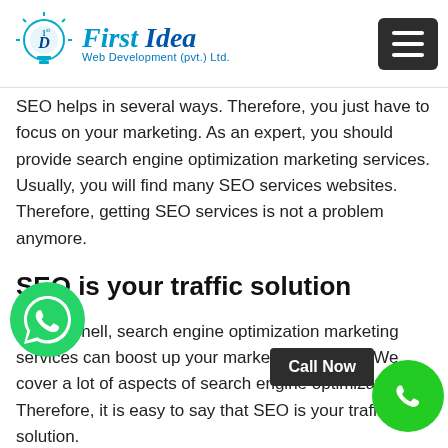First Idea Web Development (pvt.) Ltd.
SEO helps in several ways. Therefore, you just have to focus on your marketing. As an expert, you should provide search engine optimization marketing services. Usually, you will find many SEO services websites. Therefore, getting SEO services is not a problem anymore.
SEO is your traffic solution
In a nutshell, search engine optimization marketing services can boost up your marketing features. We cover a lot of aspects of search engine optimization. Therefore, it is easy to say that SEO is your traffic solution.
Several SEO services websites receive a lot of traffic. Hence, you can get affordable search engine optimization marketing services here at FIWD PVT.
[Figure (logo): WhatsApp floating button icon (green circle with phone handset)]
[Figure (logo): Call Now button and green phone float button]